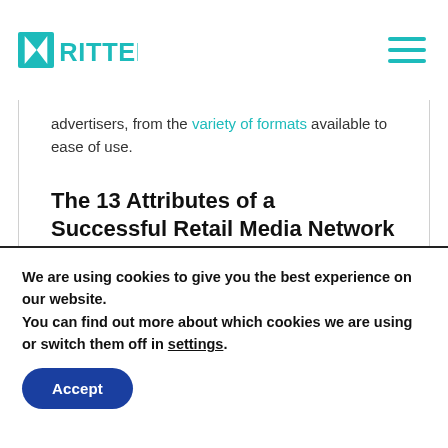KRITTER
advertisers, from the variety of formats available to ease of use.
The 13 Attributes of a Successful Retail Media Network
Each pillar is further divided to encompass multiple attributes that are important in the context of commerce advertising. The
We are using cookies to give you the best experience on our website.
You can find out more about which cookies we are using or switch them off in settings.
Accept